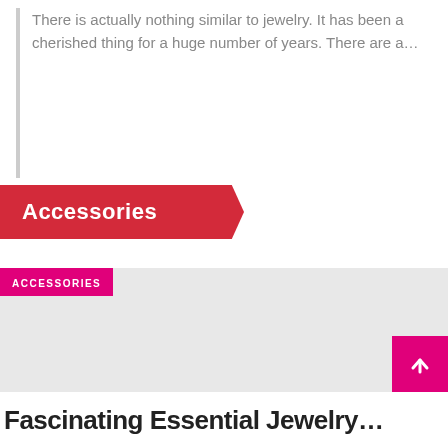There is actually nothing similar to jewelry. It has been a cherished thing for a huge number of years. There are a…
Accessories
[Figure (photo): Gray placeholder image with a pink 'ACCESSORIES' label tag in the top-left corner]
Fascinating Essential Jewelry…